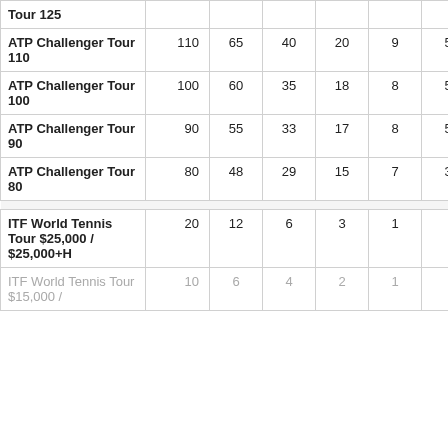| Tournament | W | F | SF | QF | R16 | R32 |  |  |
| --- | --- | --- | --- | --- | --- | --- | --- | --- |
| ATP Challenger Tour 125 (partial/cut off) |  |  |  |  |  |  |  |  |
| ATP Challenger Tour 110 | 110 | 65 | 40 | 20 | 9 | 5 |  |  |
| ATP Challenger Tour 100 | 100 | 60 | 35 | 18 | 8 | 5 |  |  |
| ATP Challenger Tour 90 | 90 | 55 | 33 | 17 | 8 | 5 |  |  |
| ATP Challenger Tour 80 | 80 | 48 | 29 | 15 | 7 | 3 |  |  |
| ITF World Tennis Tour $25,000 / $25,000+H | 20 | 12 | 6 | 3 | 1 |  |  |  |
| ITF World Tennis Tour $15,000 / (dimmed) | 10 | 6 | 4 | 2 | 1 |  |  |  |